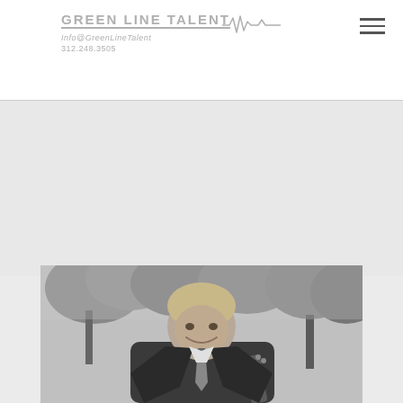[Figure (logo): Green Line Talent logo with text 'GREEN LINE TALENT', email 'Info@GreenLineTalent', phone '312.248.3505', and a waveform/heartbeat graphic]
[Figure (photo): Black and white photograph of a young man in a suit and tie smiling, holding a guitar, with trees in the background]